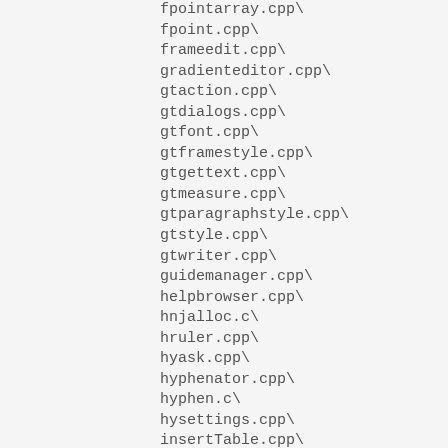fpointarray.cpp\
fpoint.cpp\
frameedit.cpp\
gradienteditor.cpp\
gtaction.cpp\
gtdialogs.cpp\
gtfont.cpp\
gtframestyle.cpp\
gtgettext.cpp\
gtmeasure.cpp\
gtparagraphstyle.cpp\
gtstyle.cpp\
gtwriter.cpp\
guidemanager.cpp\
helpbrowser.cpp\
hnjalloc.c\
hruler.cpp\
hyask.cpp\
hyphenator.cpp\
hyphen.c\
hysettings.cpp\
insertTable.cpp\
inspage.cpp\
ioapi.c\
javadocs.cpp\
keymanager.cpp\